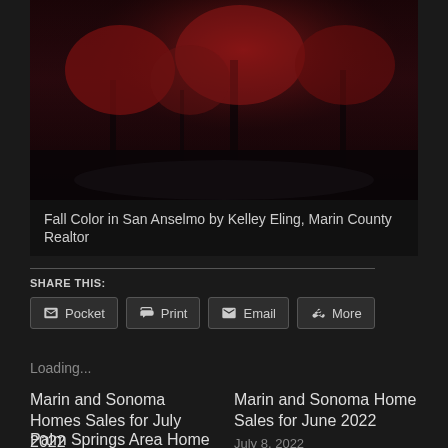[Figure (photo): Autumn/fall scene with red-leafed trees on a dark street in San Anselmo, dark reddish tones]
Fall Color in San Anselmo by Kelley Eling, Marin County Realtor
SHARE THIS:
Pocket  Print  Email  More
Loading...
Marin and Sonoma Homes Sales for July 2022
August 19, 2022
In "home sales"
Marin and Sonoma Home Sales for June 2022
July 8, 2022
In "home sales"
Palm Springs Area Home Sales for July 2022